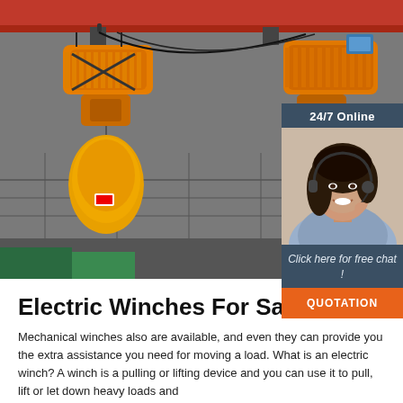[Figure (photo): Industrial yellow electric chain hoists/winches hanging from an overhead red beam in a warehouse. Two large yellow chain hoists are prominently shown suspended from a red overhead crane rail.]
[Figure (infographic): Customer service chat widget overlay on the hero image. Shows '24/7 Online' header, a photo of a smiling woman with a headset, 'Click here for free chat!' text, and an orange QUOTATION button.]
Electric Winches For Sale
Mechanical winches also are available, and even they can provide you the extra assistance you need for moving a load. What is an electric winch? A winch is a pulling or lifting device and you can use it to pull, lift or let down heavy loads and